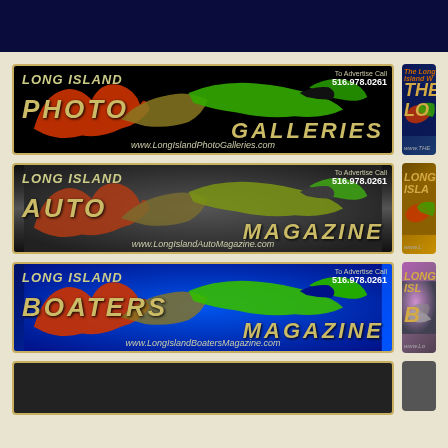[Figure (illustration): Dark navy blue header bar at top of page]
[Figure (illustration): Long Island Photo Galleries advertisement banner - black background with colorful Long Island map silhouette, gold/white italic text reading LONG ISLAND PHOTO GALLERIES, phone number 516.978.0261, website www.LongIslandPhotoGalleries.com]
[Figure (illustration): Partial right-side ad - The Long Island W... with THE LO... text visible, blue/dark background]
[Figure (illustration): Long Island Auto Magazine advertisement banner - dark gray/silver background with colorful Long Island map silhouette, gold italic text reading LONG ISLAND AUTO MAGAZINE, phone 516.978.0261, website www.LongIslandAutoMagazine.com]
[Figure (illustration): Partial right-side ad - LONG ISLA... text visible, golden/amber background]
[Figure (illustration): Long Island Boaters Magazine advertisement banner - blue background with colorful Long Island map silhouette, gold italic text reading LONG ISLAND BOATERS MAGAZINE, phone 516.978.0261, website www.LongIslandBoatersMagazine.com]
[Figure (illustration): Partial right-side ad - LONG ISL... B... text visible, pink/purple background]